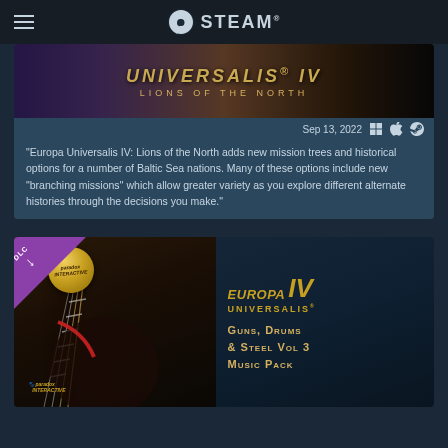STEAM
[Figure (screenshot): Europa Universalis IV: Lions of the North game banner with golden text on dark atmospheric background]
Sep 13, 2022
“Europa Universalis IV: Lions of the North adds new mission trees and historical options for a number of Baltic Sea nations. Many of these options include new “branching missions'' which allow greater variety as you explore different alternate histories through the decisions you make.”
[Figure (screenshot): Europa Universalis IV: Guns, Drums & Steel Vol 3 Music Pack DLC banner showing a guitar and game logo with DLC badge]